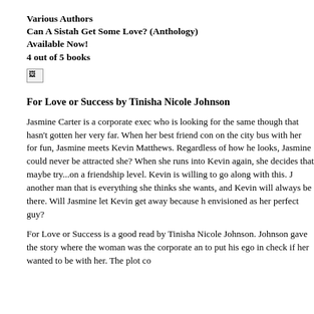Various Authors
Can A Sistah Get Some Love? (Anthology)
Available Now!
4 out of 5 books
[Figure (other): Broken/placeholder image icon]
For Love or Success by Tinisha Nicole Johnson
Jasmine Carter is a corporate exec who is looking for the same though that hasn't gotten her very far. When her best friend con on the city bus with her for fun, Jasmine meets Kevin Matthews. Regardless of how he looks, Jasmine could never be attracted she? When she runs into Kevin again, she decides that maybe try...on a friendship level. Kevin is willing to go along with this. J another man that is everything she thinks she wants, and Kevin will always be there. Will Jasmine let Kevin get away because h envisioned as her perfect guy?
For Love or Success is a good read by Tinisha Nicole Johnson. Johnson gave the story where the woman was the corporate an to put his ego in check if her wanted to be with her. The plot co